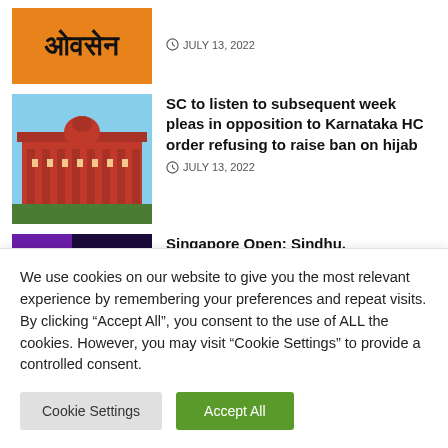[Figure (logo): Orange background logo with Hindi/Marathi text]
JULY 13, 2022
[Figure (photo): Red/orange colonial-style building (Karnataka High Court)]
SC to listen to subsequent week pleas in opposition to Karnataka HC order refusing to raise ban on hijab
JULY 13, 2022
[Figure (photo): Dark purple background sports/performance image]
Singapore Open: Sindhu,
We use cookies on our website to give you the most relevant experience by remembering your preferences and repeat visits. By clicking “Accept All”, you consent to the use of ALL the cookies. However, you may visit “Cookie Settings” to provide a controlled consent.